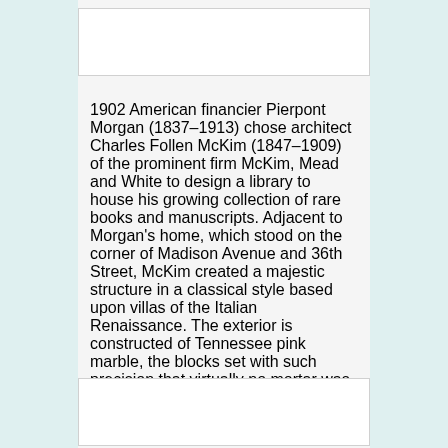[Figure (photo): Blank white image placeholder at top of content area]
1902 American financier Pierpont Morgan (1837–1913) chose architect Charles Follen McKim (1847–1909) of the prominent firm McKim, Mead and White to design a library to house his growing collection of rare books and manuscripts. Adjacent to Morgan's home, which stood on the corner of Madison Avenue and 36th Street, McKim created a majestic structure in a classical style based upon villas of the Italian Renaissance. The exterior is constructed of Tennessee pink marble, the blocks set with such precision that virtually no mortar was used. A simple recessed portico is flanked by a pair of stone lionesses. Completed in 1906, Mr.
[Figure (photo): Blank white image placeholder at bottom of content area]